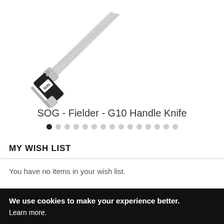[Figure (photo): SOG Fielder G10 Handle Knife — a folding pocket knife with black G10 handle scales bearing the SOG logo, silver stainless steel bolsters and blade, photographed diagonally on a white background, partial view showing the handle and lower portion of the blade.]
SOG - Fielder - G10 Handle Knife
MY WISH LIST
You have no items in your wish list.
We use cookies to make your experience better. Learn more.